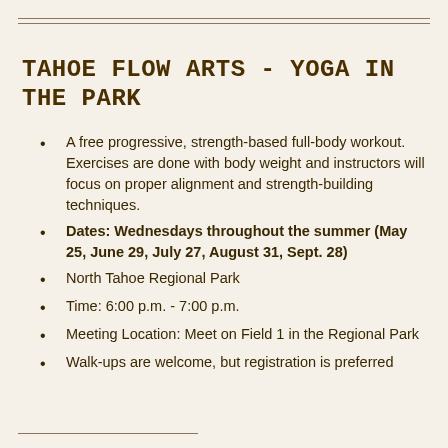TAHOE FLOW ARTS - YOGA IN THE PARK
A free progressive, strength-based full-body workout. Exercises are done with body weight and instructors will focus on proper alignment and strength-building techniques.
Dates: Wednesdays throughout the summer (May 25, June 29, July 27, August 31, Sept. 28)
North Tahoe Regional Park
Time: 6:00 p.m. - 7:00 p.m.
Meeting Location: Meet on Field 1 in the Regional Park
Walk-ups are welcome, but registration is preferred